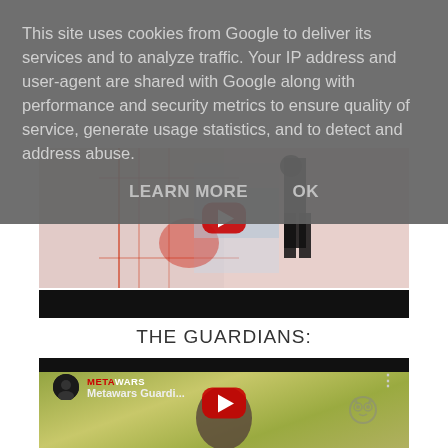This site uses cookies from Google to deliver its services and to analyze traffic. Your IP address and user-agent are shared with Google along with performance and security metrics to ensure quality of service, generate usage statistics, and to detect and address abuse.
LEARN MORE    OK
[Figure (screenshot): Partial YouTube video thumbnail showing a sci-fi themed image with red line graphics, a person in black, and a YouTube play button. Black bar at bottom.]
THE GUARDIANS:
[Figure (screenshot): YouTube video thumbnail for 'Metawars Guardi...' showing a bald man's head against a green swirling background, with a YouTube play button and an owl icon. METAWARS channel branding visible at top.]